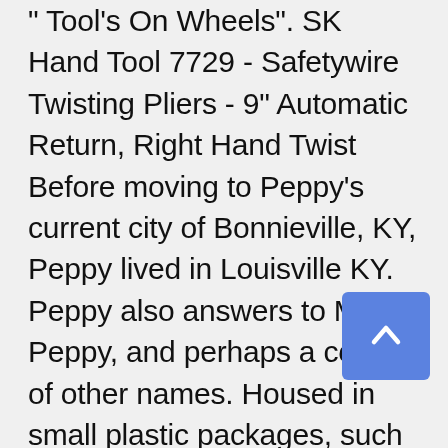" Tool's On Wheels". SK Hand Tool 7729 - Safetywire Twisting Pliers - 9" Automatic Return, Right Hand Twist Before moving to Peppy's current city of Bonnieville, KY, Peppy lived in Louisville KY. Peppy also answers to Martin Peppy, and perhaps a couple of other names. Housed in small plastic packages, such as DFN and Flip-chip, they integrate a control circuit and a power switch with low on-resistance, connecting the input port to the load. CHECK OUT OUR LATEST PRODUCTS! The Family Favorites of Mobility at Timed...